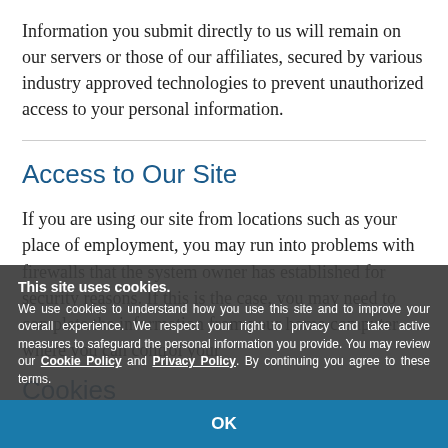Information you submit directly to us will remain on our servers or those of our affiliates, secured by various industry approved technologies to prevent unauthorized access to your personal information.
Access to Our Site
If you are using our site from locations such as your place of employment, you may run into problems with firewalls that the system owner has established for security reasons. If this is the case, you may need to complete the information from your home computer where you can control your
Cookies
This site uses cookies.
We use cookies to understand how you use this site and to improve your overall experience. We respect your right to privacy and take active measures to safeguard the personal information you provide. You may review our Cookie Policy and Privacy Policy. By continuing you agree to these terms.
OK